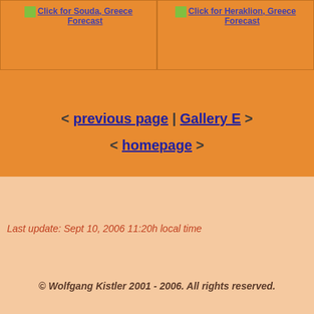[Figure (screenshot): Two forecast link cells with weather icons for Souda, Greece and Heraklion, Greece on an orange background]
< previous page | Gallery E >
< homepage >
Last update: Sept 10, 2006  11:20h local time
© Wolfgang Kistler 2001 - 2006.  All rights reserved.